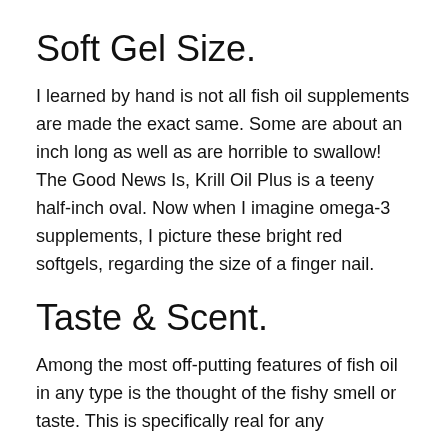Soft Gel Size.
I learned by hand is not all fish oil supplements are made the exact same. Some are about an inch long as well as are horrible to swallow!
The Good News Is, Krill Oil Plus is a teeny half-inch oval. Now when I imagine omega-3 supplements, I picture these bright red softgels, regarding the size of a finger nail.
Taste & Scent.
Among the most off-putting features of fish oil in any type is the thought of the fishy smell or taste. This is specifically real for any